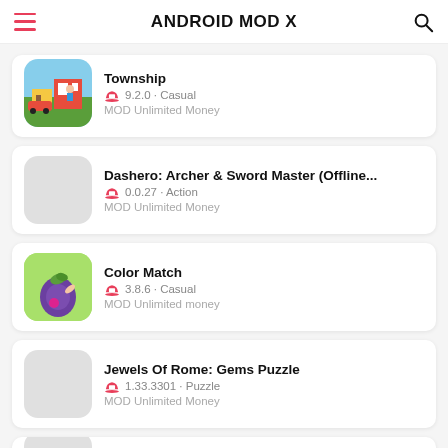ANDROID MOD X
Township · 9.2.0 · Casual · MOD Unlimited Money
Dashero: Archer & Sword Master (Offline... · 0.0.27 · Action · MOD Unlimited Money
Color Match · 3.8.6 · Casual · MOD Unlimited money
Jewels Of Rome: Gems Puzzle · 1.33.3301 · Puzzle · MOD Unlimited Money
Wild Sky TD